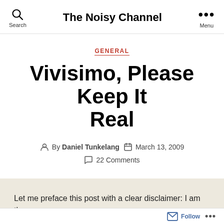The Noisy Channel
GENERAL
Vivisimo, Please Keep It Real
By Daniel Tunkelang  March 13, 2009  22 Comments
Let me preface this post with a clear disclaimer: I am the
Follow